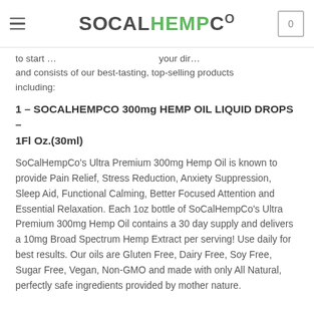SoCalHempCo
to start … your dir… and consists of our best-tasting, top-selling products including:
1 – SOCALHEMPCO 300mg HEMP OIL LIQUID DROPS – 1Fl Oz.(30ml)
SoCalHempCo's Ultra Premium 300mg Hemp Oil is known to provide Pain Relief, Stress Reduction, Anxiety Suppression, Sleep Aid, Functional Calming, Better Focused Attention and Essential Relaxation. Each 1oz bottle of SoCalHempCo's Ultra Premium 300mg Hemp Oil contains a 30 day supply and delivers a 10mg Broad Spectrum Hemp Extract per serving! Use daily for best results. Our oils are Gluten Free, Dairy Free, Soy Free, Sugar Free, Vegan, Non-GMO and made with only All Natural, perfectly safe ingredients provided by mother nature.